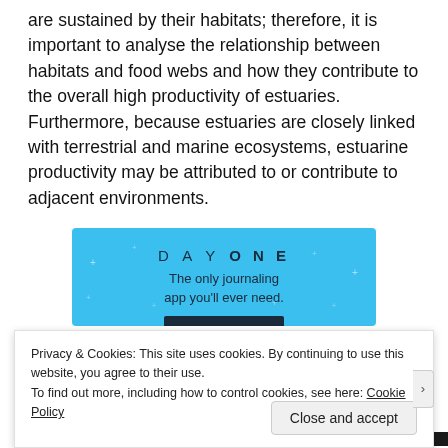are sustained by their habitats; therefore, it is important to analyse the relationship between habitats and food webs and how they contribute to the overall high productivity of estuaries. Furthermore, because estuaries are closely linked with terrestrial and marine ecosystems, estuarine productivity may be attributed to or contribute to adjacent environments.
[Figure (other): Advertisement banner for 'DAY ONE' journaling app on a light blue background with small star/cross decorations. Text reads: 'DAY ONE - The only journaling app you'll ever need.']
Privacy & Cookies: This site uses cookies. By continuing to use this website, you agree to their use.
To find out more, including how to control cookies, see here: Cookie Policy